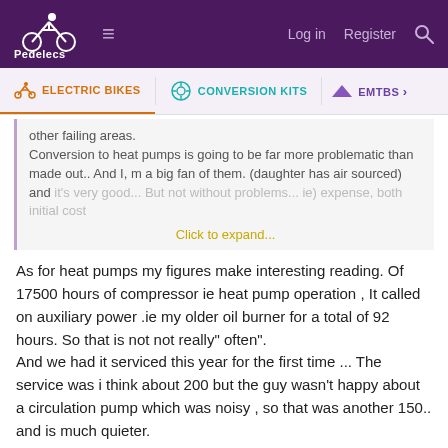Pedelecs — Log in  Register
ELECTRIC BIKES  CONVERSION KITS  EMTBS
other failing areas.
Conversion to heat pumps is going to be far more problematic than made out.. And I, m a big fan of them. (daughter has air sourced) and it's very good... But not without problems... ie) expense, both initial cost
Click to expand...
As for heat pumps my figures make interesting reading. Of 17500 hours of compressor ie heat pump operation , It called on auxiliary power .ie my older oil burner for a total of 92 hours. So that is not not really" often".
And we had it serviced this year for the first time ... The service was i think about 200 but the guy wasn't happy about a circulation pump which was noisy , so that was another 150.. and is much quieter.
flecc